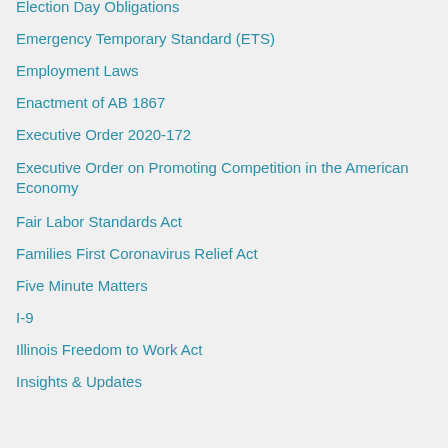Election Day Obligations
Emergency Temporary Standard (ETS)
Employment Laws
Enactment of AB 1867
Executive Order 2020-172
Executive Order on Promoting Competition in the American Economy
Fair Labor Standards Act
Families First Coronavirus Relief Act
Five Minute Matters
I-9
Illinois Freedom to Work Act
Insights & Updates